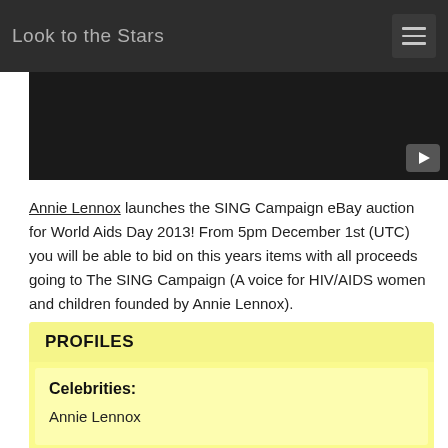Look to the Stars
[Figure (screenshot): Dark video thumbnail area with a YouTube-style play button in the bottom right corner]
Annie Lennox launches the SING Campaign eBay auction for World Aids Day 2013! From 5pm December 1st (UTC) you will be able to bid on this years items with all proceeds going to The SING Campaign (A voice for HIV/AIDS women and children founded by Annie Lennox).
This video was featured in the following story:
Annie Lennox Launches Auction On World AIDS Day
PROFILES
Celebrities:
Annie Lennox